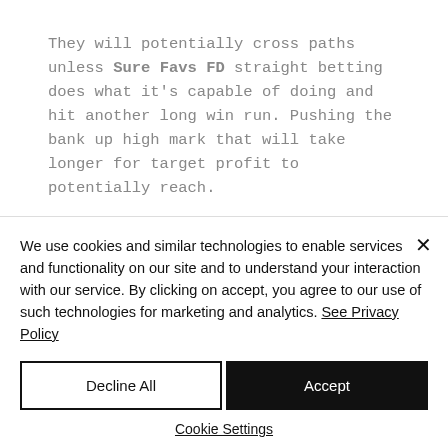They will potentially cross paths unless Sure Favs FD straight betting does what it's capable of doing and hit another long win run. Pushing the bank up high mark that will take longer for target profit to potentially reach.
If not, the target profit option as it stands
We use cookies and similar technologies to enable services and functionality on our site and to understand your interaction with our service. By clicking on accept, you agree to our use of such technologies for marketing and analytics. See Privacy Policy
Decline All
Accept
Cookie Settings